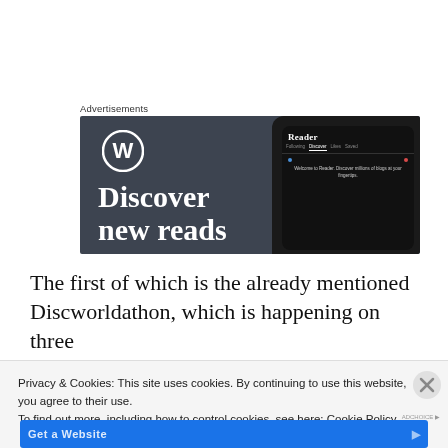Advertisements
[Figure (screenshot): WordPress advertisement banner showing the WordPress logo and text 'Discover new reads' on a dark background, with a phone mockup showing the Reader interface with tabs: Following, Discover, Likes, Saved and text 'Welcome to Reader. Discover millions of blogs at your fingertips.']
The first of which is the already mentioned Discworldathon, which is happening on three blogs run by my family, and a fair few others
Privacy & Cookies: This site uses cookies. By continuing to use this website, you agree to their use.
To find out more, including how to control cookies, see here: Cookie Policy
Close and accept